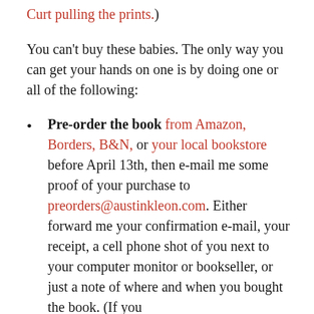Curt pulling the prints.)
You can't buy these babies. The only way you can get your hands on one is by doing one or all of the following:
Pre-order the book from Amazon, Borders, B&N, or your local bookstore before April 13th, then e-mail me some proof of your purchase to preorders@austinkleon.com. Either forward me your confirmation e-mail, your receipt, a cell phone shot of you next to your computer monitor or bookseller, or just a note of where and when you bought the book. (If you